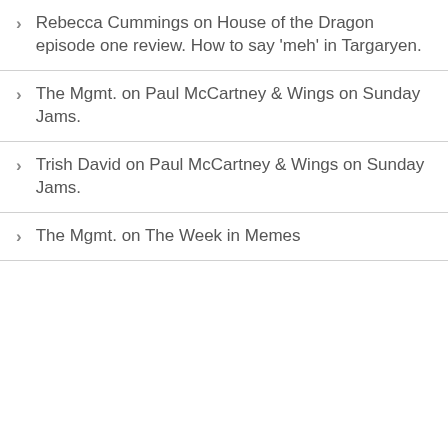Rebecca Cummings on House of the Dragon episode one review. How to say 'meh' in Targaryen.
The Mgmt. on Paul McCartney & Wings on Sunday Jams.
Trish David on Paul McCartney & Wings on Sunday Jams.
The Mgmt. on The Week in Memes